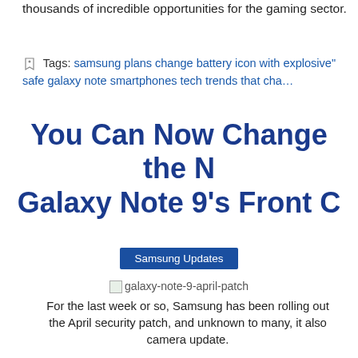thousands of incredible opportunities for the gaming sector.
Tags: samsung plans change battery icon with explosive" safe galaxy note smartphones tech trends that cha…
You Can Now Change the [N] Galaxy Note 9's Front C[amera]
Samsung Updates
[Figure (photo): Image placeholder for galaxy-note-9-april-patch]
For the last week or so, Samsung has been rolling out the April security patch, and unknown to many, it also camera update.
Once you have installed the update via OTA or man camera FOV (Fielf-of-View) changes to 68-degrees, but the 80-degree wide-angle view if you want, which wa…